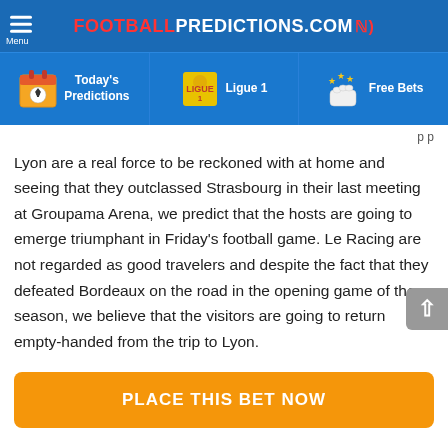FOOTBALLPREDICTIONS.COM
Today's Predictions  Ligue 1  Free Bets
Lyon are a real force to be reckoned with at home and seeing that they outclassed Strasbourg in their last meeting at Groupama Arena, we predict that the hosts are going to emerge triumphant in Friday's football game. Le Racing are not regarded as good travelers and despite the fact that they defeated Bordeaux on the road in the opening game of the season, we believe that the visitors are going to return empty-handed from the trip to Lyon.
PLACE THIS BET NOW